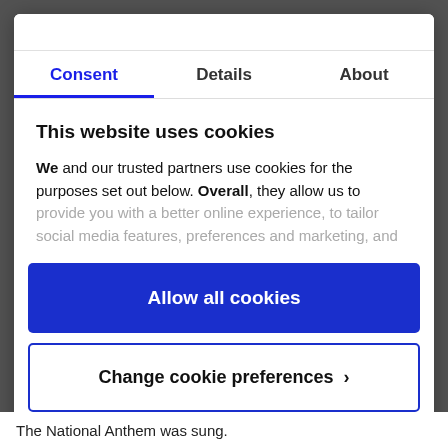Consent | Details | About
This website uses cookies
We and our trusted partners use cookies for the purposes set out below. Overall, they allow us to provide you with a better online experience, to tailor social media features, preferences and marketing, and
Allow all cookies
Change cookie preferences >
Powered by Cookiebot by Usercentrics
The National Anthem was sung.